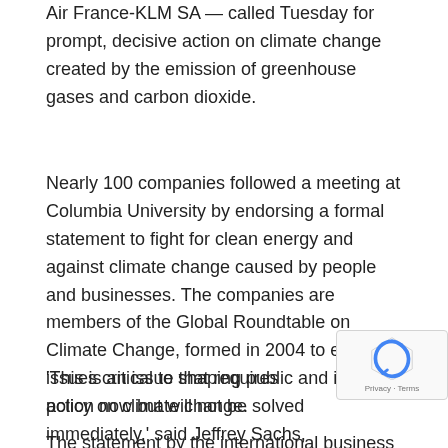Air France-KLM SA — called Tuesday for prompt, decisive action on climate change created by the emission of greenhouse gases and carbon dioxide.
Nearly 100 companies followed a meeting at Columbia University by endorsing a formal statement to fight for clean energy and against climate change caused by people and businesses. The companies are members of the Global Roundtable on Climate Change, formed in 2004 to explore issues critical to shaping public and industry policy on climate change.
'This is an issue that requires action now but will not be solved immediately,' said Jeffrey Sachs, director of the Earth Institute at Columbia University, which created the Global Roundtable.
The statement by the international business community